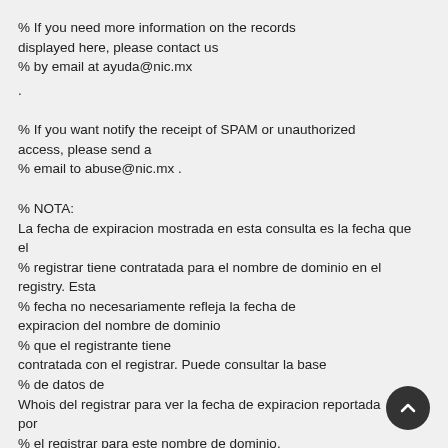% If you need more information on the records displayed here, please contact us
% by email at ayuda@nic.mx
.
% If you want notify the receipt of SPAM or unauthorized access, please send a
% email to abuse@nic.mx .
% NOTA:
La fecha de expiracion mostrada en esta consulta es la fecha que el
% registrar tiene contratada para el nombre de dominio en el registry. Esta
% fecha no necesariamente refleja la fecha de expiracion del nombre de dominio
% que el registrante tiene contratada con el registrar. Puede consultar la base
% de datos de Whois del registrar para ver la fecha de expiracion reportada por
% el registrar para este nombre de dominio.
% La informacion que ha solicitado se provee exclusivamente para fines
% relacionados con la delegacion de nombres de dominio y la